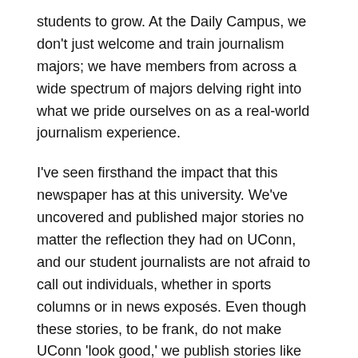students to grow. At the Daily Campus, we don't just welcome and train journalism majors; we have members from across a wide spectrum of majors delving right into what we pride ourselves on as a real-world journalism experience.
I've seen firsthand the impact that this newspaper has at this university. We've uncovered and published major stories no matter the reflection they had on UConn, and our student journalists are not afraid to call out individuals, whether in sports columns or in news exposés. Even though these stories, to be frank, do not make UConn 'look good,' we publish stories like this because we are confident in our independence and UConn's recognition of it. As an independent news source, we have the honor and responsibility of providing fair, unbiased coverage that we believe students on this campus need to know.